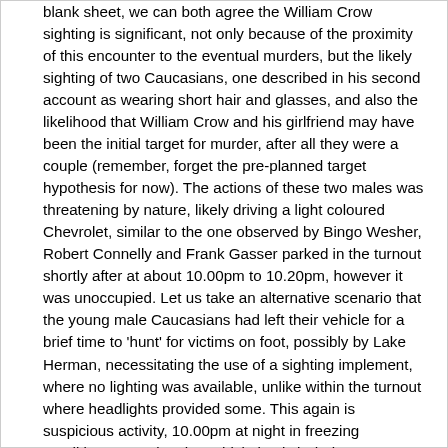blank sheet, we can both agree the William Crow sighting is significant, not only because of the proximity of this encounter to the eventual murders, but the likely sighting of two Caucasians, one described in his second account as wearing short hair and glasses, and also the likelihood that William Crow and his girlfriend may have been the initial target for murder, after all they were a couple (remember, forget the pre-planned target hypothesis for now). The actions of these two males was threatening by nature, likely driving a light coloured Chevrolet, similar to the one observed by Bingo Wesher, Robert Connelly and Frank Gasser parked in the turnout shortly after at about 10.00pm to 10.20pm, however it was unoccupied. Let us take an alternative scenario that the young male Caucasians had left their vehicle for a brief time to 'hunt' for victims on foot, possibly by Lake Herman, necessitating the use of a sighting implement, where no lighting was available, unlike within the turnout where headlights provided some. This again is suspicious activity, 10.00pm at night in freezing conditions, vacating the vehicle in pitch darkness. Two strange occurrences within 60-90 minutes of a double murder. Coincidence or not. I am not convinced we can just overlook these key sightings of a White Chevrolet Impala, and I am convinced the older and more experienced witnesses are highly unlikely to have misidentified the vehicle